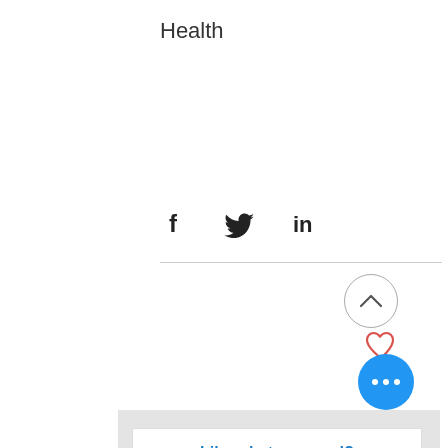Health
[Figure (infographic): Social sharing icons: Facebook (f), Twitter (bird), LinkedIn (in)]
[Figure (infographic): Heart/like icon in coral/red outline]
Like what you read? Subcribe to Receive Margi's Weekly Articles! Would you like to read more articles like this, and learn more practical tips and guidance for dealing with learning and communication difficulties?